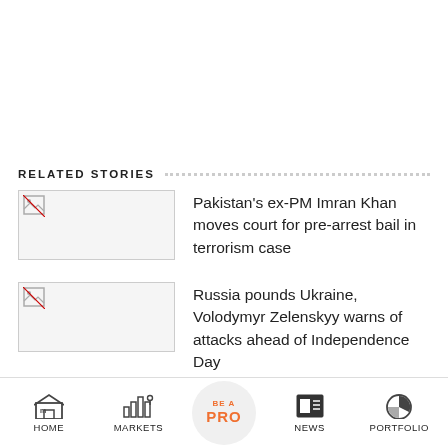RELATED STORIES
[Figure (photo): Broken image thumbnail for Pakistan's ex-PM Imran Khan story]
Pakistan's ex-PM Imran Khan moves court for pre-arrest bail in terrorism case
[Figure (photo): Broken image thumbnail for Russia pounds Ukraine story]
Russia pounds Ukraine, Volodymyr Zelenskyy warns of attacks ahead of Independence Day
HOME  MARKETS  BE A PRO  NEWS  PORTFOLIO